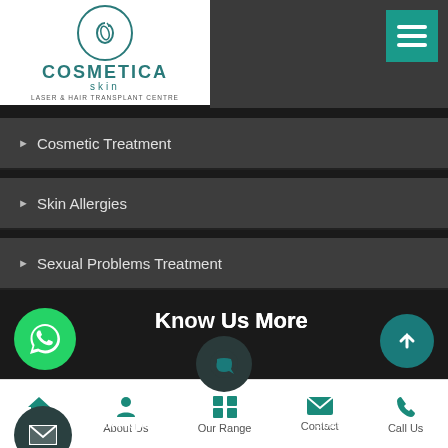[Figure (logo): Cosmetica Skin Laser & Hair Transplant Centre logo with circle emblem]
Cosmetic Treatment
Skin Allergies
Sexual Problems Treatment
Know Us More
Address : E-25/2.SL Mara. Lal Bahadur Nagar, Income 302018
Mobile : +91-9765575555
Mobile : +91-7257220427
Home   About Us   Our Range   Contact   Call Us